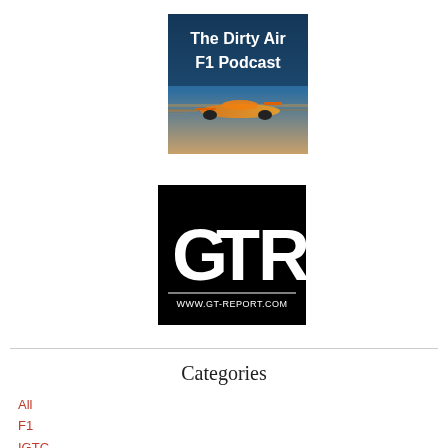[Figure (logo): The Dirty Air F1 Podcast logo — an orange Formula 1 car speeding on a racetrack with text 'The Dirty Air F1 Podcast' overlaid on a dark blue/teal background]
[Figure (logo): GT Report logo — white bold letters 'GT R' on a black background with URL 'WWW.GT-REPORT.COM' at the bottom]
Categories
All
F1
IGTC
IMSA
Indycar